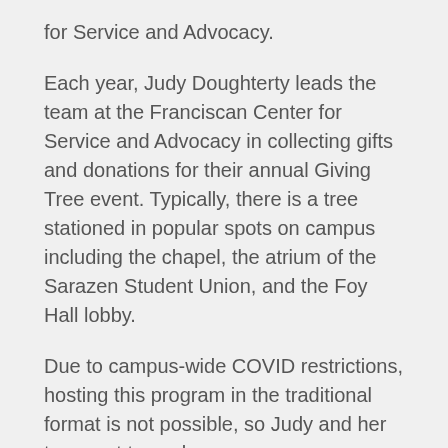for Service and Advocacy.
Each year, Judy Doughterty leads the team at the Franciscan Center for Service and Advocacy in collecting gifts and donations for their annual Giving Tree event. Typically, there is a tree stationed in popular spots on campus including the chapel, the atrium of the Sarazen Student Union, and the Foy Hall lobby.
Due to campus-wide COVID restrictions, hosting this program in the traditional format is not possible, so Judy and her team got to work.
It only took a matter of weeks for Judy's virtual Christmas tree vision to come to life with the help of